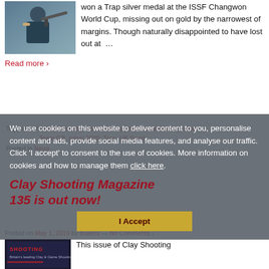[Figure (photo): Person shooting clay target, holding shotgun, wearing blue top and brown vest]
won a Trap silver medal at the ISSF Changwon World Cup, missing out on gold by the narrowest of margins. Though naturally disappointed to have lost out at …
Read more ›
Tagged with: Clay Shooting, issf world cup, matt coward-holley, silver, Team GB, tokyo 2020, Trap, UK Sport
Posted in News
We use cookies on this website to deliver content to you, personalise content and ads, provide social media features, and analyse our traffic. Click 'I accept' to consent to the use of cookies. More information on cookies and how to manage them click here.
I Accept
Clay Shooting Magazine 135 is out now!
Posted on May 1, 2019 by towens — No Comments ↓
[Figure (photo): Clay Shooting magazine cover]
This issue of Clay Shooting